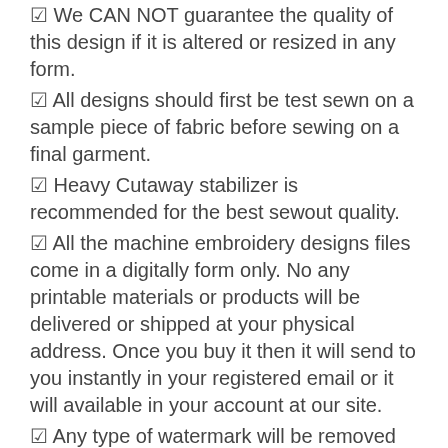✅ We CAN NOT guarantee the quality of this design if it is altered or resized in any form.
✅ All designs should first be test sewn on a sample piece of fabric before sewing on a final garment.
✅ Heavy Cutaway stabilizer is recommended for the best sewout quality.
✅ All the machine embroidery designs files come in a digitally form only. No any printable materials or products will be delivered or shipped at your physical address. Once you buy it then it will send to you instantly in your registered email or it will available in your account at our site.
✅ Any type of watermark will be removed once the digital file purchased.
✅ Before purchasing any product please make sure all the required software and